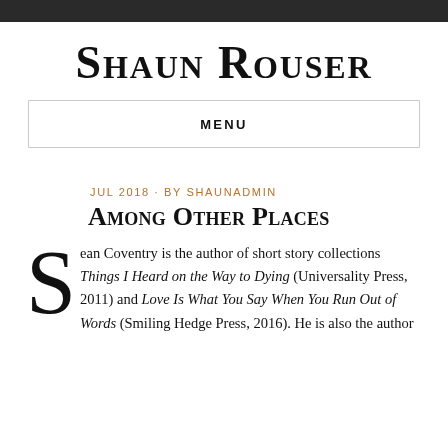Shaun Rouser
MENU
JUL 2018 · BY SHAUNADMIN
Among Other Places
Sean Coventry is the author of short story collections Things I Heard on the Way to Dying (Universality Press, 2011) and Love Is What You Say When You Run Out of Words (Smiling Hedge Press, 2016). He is also the author